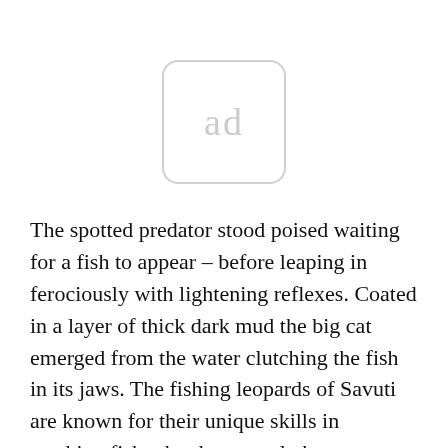[Figure (other): Placeholder advertisement box with rounded corners containing the text 'ad' in light grey]
The spotted predator stood poised waiting for a fish to appear – before leaping in ferociously with lightening reflexes. Coated in a layer of thick dark mud the big cat emerged from the water clutching the fish in its jaws. The fishing leopards of Savuti are known for their unique skills in catching fish – but have rarely been